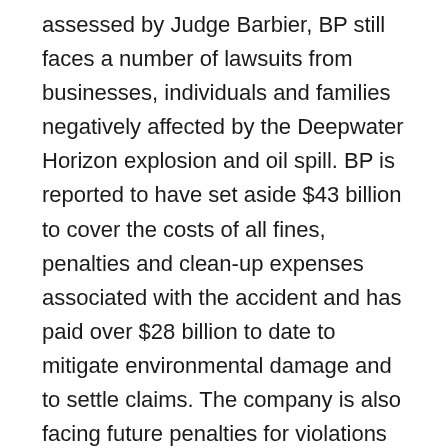assessed by Judge Barbier, BP still faces a number of lawsuits from businesses, individuals and families negatively affected by the Deepwater Horizon explosion and oil spill. BP is reported to have set aside $43 billion to cover the costs of all fines, penalties and clean-up expenses associated with the accident and has paid over $28 billion to date to mitigate environmental damage and to settle claims. The company is also facing future penalties for violations of the Oil Pollution Act of 1990; these could add up to more than $10 billion in additional costs assessed to BP for the Deepwater Horizon incident. Many businesses continue to feel the effects of the Deepwater Horizon oil spill. Working with an oil rig accident attorney can help smaller